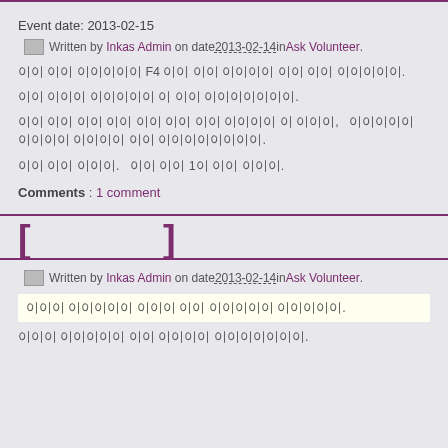Event date: 2013-02-15
Written by Inkas Admin on date 2013-02-14 in Ask Volunteer .
이 이 이이이이 F4 이이 이이 이이이이 이이 이이 이이이이이.
이이 이이이 이이이이이 이 이이 이이이이이이이.
이이 이이 이이 이이 이이 이이 이이 이이이이 이 이이이,   이이이이이 이이이이 이이이이 이이 이이이이이이이이.
이이 이이 이이이.   이이 이이 1이 이이 이이이.
Comments : 1 comment
[    ]
Written by Inkas Admin on date 2013-02-14 in Ask Volunteer .
이이이 이이이이이 이이이 이이 이이이이이 이이이이이.
이이이 이이이이이 이이 이이이이 이이이이이이이.